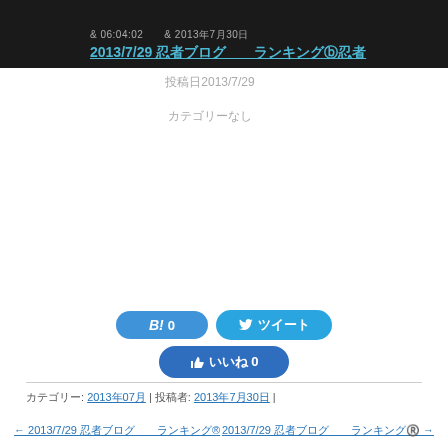[Figure (screenshot): Dark banner with Japanese text and date 2013/7/29, link text in cyan/teal color]
投稿日2013/7/29
カテゴリーなし
[Figure (infographic): Social share buttons: Hatena Bookmark (B! 0), Tweet button (ツイート), Facebook like button (いいね 0)]
カテゴリー: 2013年07月 | 投稿者: 2013年7月30日 |
← 2013/7/29 忍者ブログ　　ランキング®
2013/7/29 忍者ブログ　　ランキング®️ →